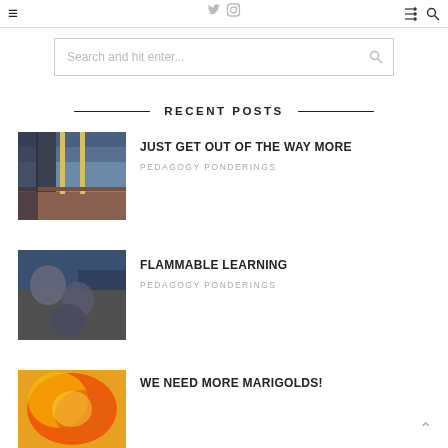≡ [twitter icon] [instagram icon] [share icon] [search icon]
[Figure (screenshot): Search bar with placeholder 'Search and hit enter...']
RECENT POSTS
[Figure (photo): Road with yellow dividing lines, rust-colored bridge overhead, blue-gray tones]
JUST GET OUT OF THE WAY MORE
PEDAGOGY PONDERINGS
[Figure (photo): People gathered around a table working, dark blue/grey tones]
FLAMMABLE LEARNING
PEDAGOGY PONDERINGS
[Figure (photo): Bright yellow and red marigold flower close-up]
WE NEED MORE MARIGOLDS!